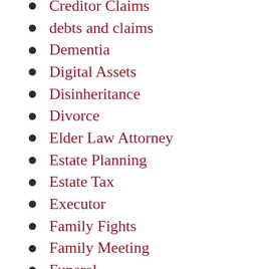Creditor Claims
debts and claims
Dementia
Digital Assets
Disinheritance
Divorce
Elder Law Attorney
Estate Planning
Estate Tax
Executor
Family Fights
Family Meeting
Funeral
Gifting
Grandparent
Guadianship
Guardian